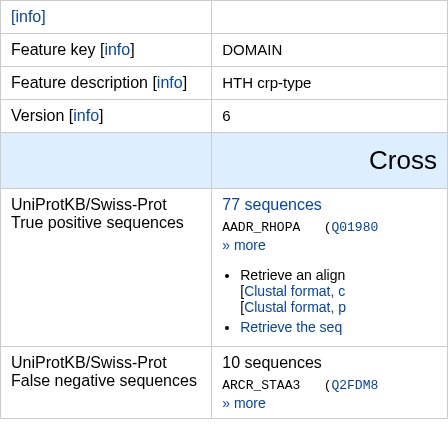| Field | Value |
| --- | --- |
| [info] |  |
| Feature key [info] | DOMAIN |
| Feature description [info] | HTH crp-type |
| Version [info] | 6 |
| Cross-references (header) |  |
| UniProtKB/Swiss-Prot True positive sequences | 77 sequences
AADR_RHOPA (Q01980)
» more
• Retrieve an alignment [Clustal format, ...
[Clustal format, p...
• Retrieve the seq... |
| UniProtKB/Swiss-Prot False negative sequences | 10 sequences
ARCR_STAA3 (Q2FDM8
» more |